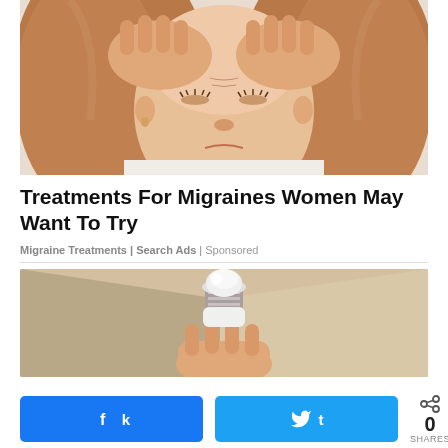[Figure (photo): Woman with brown/reddish hair holding both hands pressed against her temples/forehead with eyes closed, appearing to be in pain from a headache or migraine. White background.]
Treatments For Migraines Women May Want To Try
Migraine Treatments | Search Ads | Sponsored
[Figure (photo): A hand holding a white LED light bulb against a light brown/beige background, partially visible.]
0 SHARES